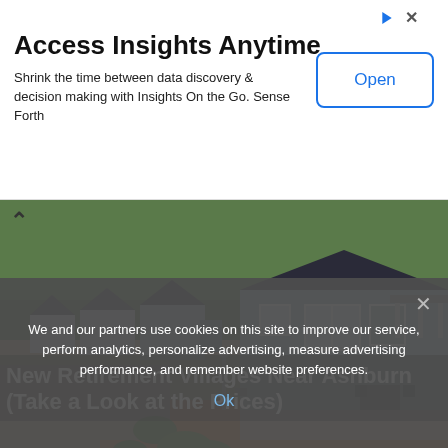[Figure (screenshot): Advertisement banner with title 'Access Insights Anytime', subtitle text, and an 'Open' button]
Access Insights Anytime
Shrink the time between data discovery & decision making with Insights On the Go. Sense Forth
[Figure (photo): Photograph of a row of small blue/grey residential cottage-style retirement village homes with green bushes and orange/brown ground cover]
New Retirement Villages Near Ashburn (Take a Look at the Prices)
We and our partners use cookies on this site to improve our service, perform analytics, personalize advertising, measure advertising performance, and remember website preferences.